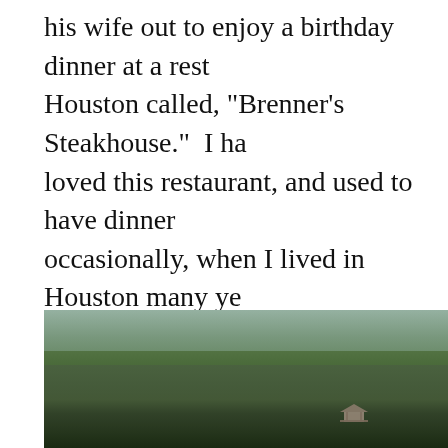his wife out to enjoy a birthday dinner at a restaurant in Houston called, "Brenner's Steakhouse."  I ha loved this restaurant, and used to have dinner occasionally, when I lived in Houston many ye time, it was called "The Rainbow Lodge."  The different now, but the food is still just as wonde atmosphere just as great.  Some places are gr stand the test of time.  This is one of those pla photo of my son, Brandon, and I on his 29th bi Brenner's Steakhouse.
[Figure (photo): Outdoor photo showing lush green trees and foliage with a gazebo visible in the background, overcast sky partially visible through the canopy.]